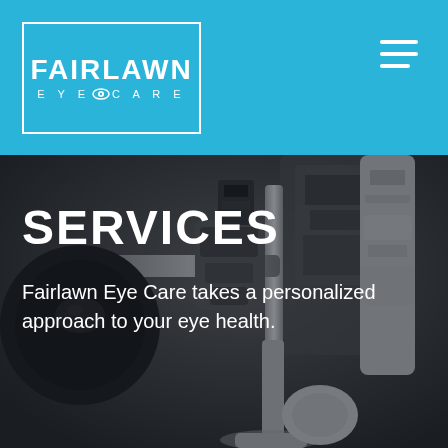[Figure (logo): Fairlawn Eye Care logo in white text inside a white rectangle border on a cyan/blue background header bar, with hamburger menu icon in top right]
[Figure (photo): Close-up photograph of ophthalmic slit lamp microscope equipment used in eye care, shown with dark overlay treatment in grayscale tones]
SERVICES
Fairlawn Eye Care takes a personalized approach to your eye health.